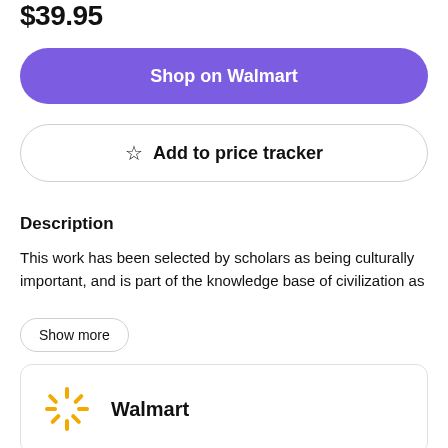$39.95
Shop on Walmart
☆ Add to price tracker
Description
This work has been selected by scholars as being culturally important, and is part of the knowledge base of civilization as
Show more
[Figure (logo): Walmart spark logo with the text Walmart]
Walmart